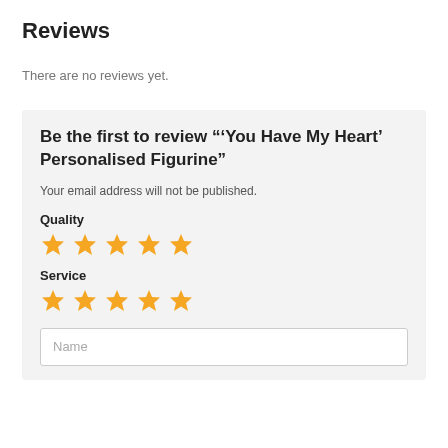Reviews
There are no reviews yet.
Be the first to review ‘'You Have My Heart’ Personalised Figurine”
Your email address will not be published.
Quality
[Figure (other): Five gold star rating icons for Quality]
Service
[Figure (other): Five gold star rating icons for Service]
Name